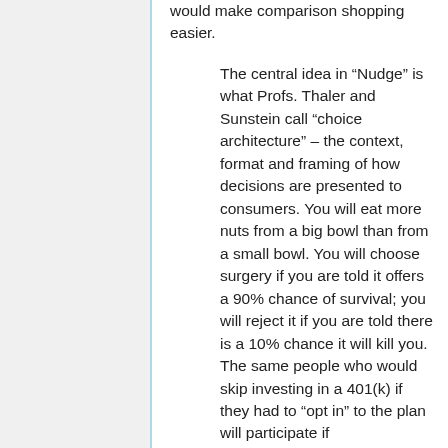would make comparison shopping easier.
The central idea in “Nudge” is what Profs. Thaler and Sunstein call “choice architecture” – the context, format and framing of how decisions are presented to consumers. You will eat more nuts from a big bowl than from a small bowl. You will choose surgery if you are told it offers a 90% chance of survival; you will reject it if you are told there is a 10% chance it will kill you. The same people who would skip investing in a 401(k) if they had to “opt in” to the plan will participate if